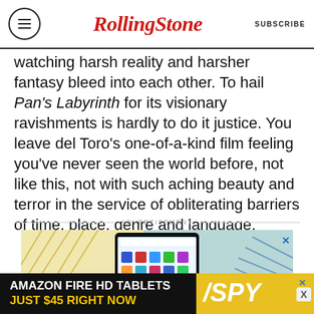RollingStone — SUBSCRIBE
watching harsh reality and harsher fantasy bleed into each other. To hail Pan's Labyrinth for its visionary ravishments is hardly to do it justice. You leave del Toro's one-of-a-kind film feeling you've never seen the world before, not like this, not with such aching beauty and terror in the service of obliterating barriers of time, place, genre and language.
ADVERTISEMENT
[Figure (photo): Advertisement showing an Amazon Fire HD tablet on a colorful background with diagonal lines]
[Figure (photo): Bottom banner ad: AMAZON FIRE HD TABLETS JUST $45 RIGHT NOW — SPY]